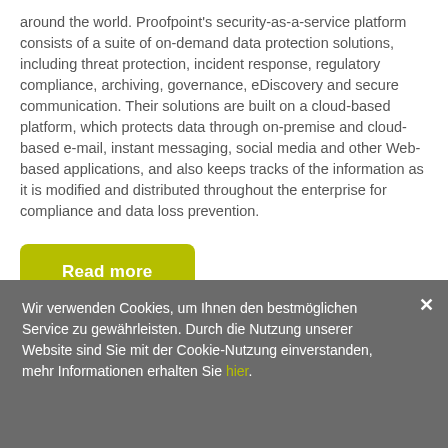around the world. Proofpoint's security-as-a-service platform consists of a suite of on-demand data protection solutions, including threat protection, incident response, regulatory compliance, archiving, governance, eDiscovery and secure communication. Their solutions are built on a cloud-based platform, which protects data through on-premise and cloud-based e-mail, instant messaging, social media and other Web-based applications, and also keeps tracks of the information as it is modified and distributed throughout the enterprise for compliance and data loss prevention.
Read more
Wir verwenden Cookies, um Ihnen den bestmöglichen Service zu gewährleisten. Durch die Nutzung unserer Website sind Sie mit der Cookie-Nutzung einverstanden, mehr Informationen erhalten Sie hier.